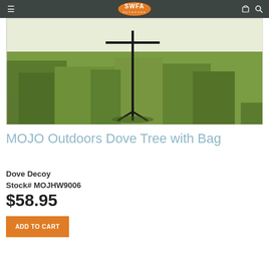SWFA Outdoors navigation bar with hamburger menu, cart, and search icons
[Figure (photo): Product photo of MOJO Outdoors Dove Tree with Bag standing in green grass field]
MOJO Outdoors Dove Tree with Bag
Dove Decoy
Stock# MOJHW9006
$58.95
ADD TO CART